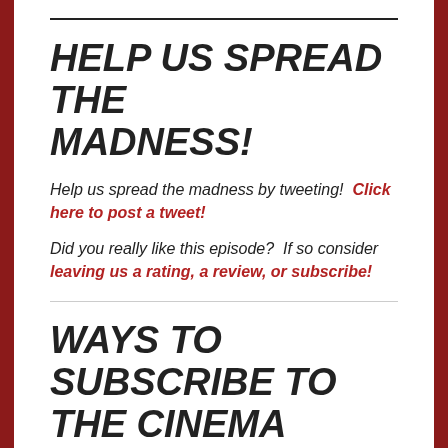HELP US SPREAD THE MADNESS!
Help us spread the madness by tweeting!  Click here to post a tweet!
Did you really like this episode?  If so consider leaving us a rating, a review, or subscribe!
WAYS TO SUBSCRIBE TO THE CINEMA PSYCHOS SHOW!